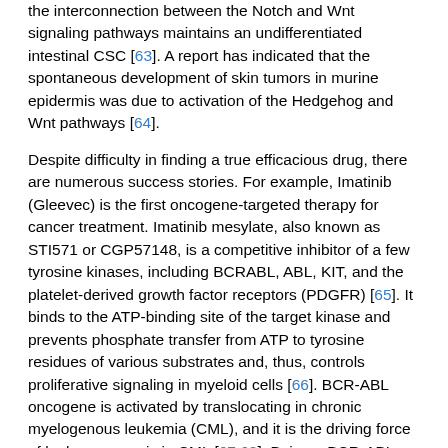the interconnection between the Notch and Wnt signaling pathways maintains an undifferentiated intestinal CSC [63]. A report has indicated that the spontaneous development of skin tumors in murine epidermis was due to activation of the Hedgehog and Wnt pathways [64].
Despite difficulty in finding a true efficacious drug, there are numerous success stories. For example, Imatinib (Gleevec) is the first oncogene-targeted therapy for cancer treatment. Imatinib mesylate, also known as STI571 or CGP57148, is a competitive inhibitor of a few tyrosine kinases, including BCRABL, ABL, KIT, and the platelet-derived growth factor receptors (PDGFR) [65]. It binds to the ATP-binding site of the target kinase and prevents phosphate transfer from ATP to tyrosine residues of various substrates and, thus, controls proliferative signaling in myeloid cells [66]. BCR-ABL oncogene is activated by translocating in chronic myelogenous leukemia (CML), and it is the driving force of leukemogenesis in CML [67,68]. Being a BCR-ABL inhibitor, imatinib is extremely efficacious in CSCs of CML [69,70].
Figure 4 illustrates the prohibition mechanism of Imatinib mesylate (IM) upon activation of the BCR-ABL protein oncogene [71]. Normally, ATP binds to a specific pocket within the kinase domain of BCR-ABL protein and phosphorylates tyrosine residues